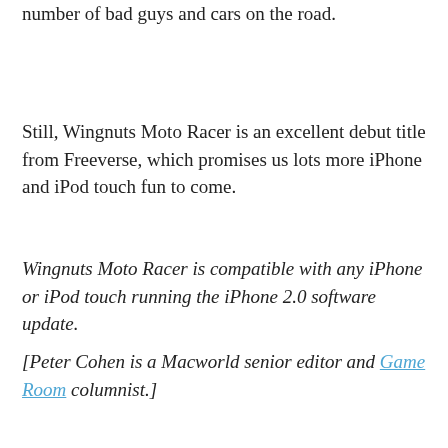number of bad guys and cars on the road.
Still, Wingnuts Moto Racer is an excellent debut title from Freeverse, which promises us lots more iPhone and iPod touch fun to come.
Wingnuts Moto Racer is compatible with any iPhone or iPod touch running the iPhone 2.0 software update.
[Peter Cohen is a Macworld senior editor and Game Room columnist.]